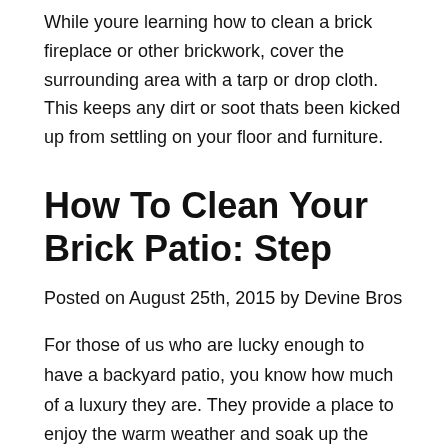While youre learning how to clean a brick fireplace or other brickwork, cover the surrounding area with a tarp or drop cloth. This keeps any dirt or soot thats been kicked up from settling on your floor and furniture.
How To Clean Your Brick Patio: Step
Posted on August 25th, 2015 by Devine Bros
For those of us who are lucky enough to have a backyard patio, you know how much of a luxury they are. They provide a place to enjoy the warm weather and soak up the sun, and they can also add visual appeal to your landscaping.
Many homeowners prefer brick patios instead of concrete